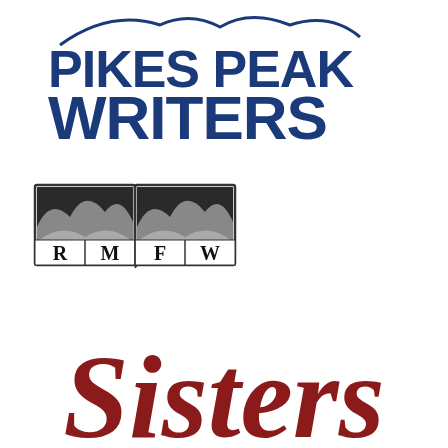[Figure (logo): Pikes Peak Writers logo — bold dark blue uppercase text reading PIKES PEAK on first line and WRITERS on second line, with a mountain silhouette graphic arc above the text]
[Figure (logo): Rocky Mountain Fiction Writers (RMFW) logo — an open book illustration with mountain landscape imagery on the pages and the letters R M F W printed at the bottom of the book]
[Figure (logo): Sisters in Crime logo — large italic serif script text reading 'Sisters' in dark red/crimson color, partially cropped at bottom of page]